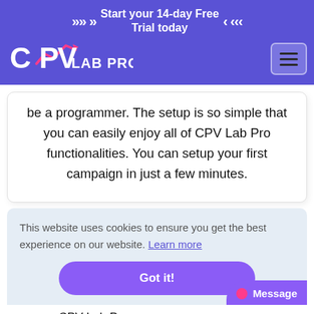Start your 14-day Free Trial today
[Figure (logo): CPV Lab Pro logo with upward arrow chart graphic, white text on purple background]
be a programmer. The setup is so simple that you can easily enjoy all of CPV Lab Pro functionalities. You can setup your first campaign in just a few minutes.
This website uses cookies to ensure you get the best experience on our website. Learn more
Got it!
CPV Lab Pro runs on your own serve